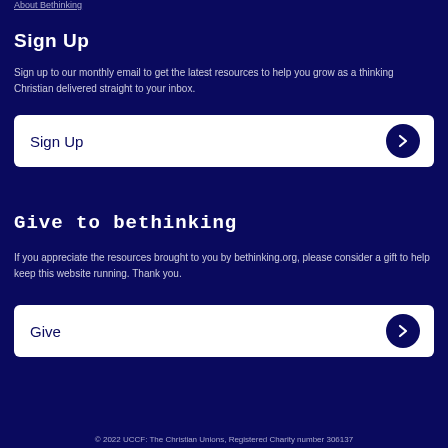About Bethinking
Sign Up
Sign up to our monthly email to get the latest resources to help you grow as a thinking Christian delivered straight to your inbox.
Sign Up
Give to bethinking
If you appreciate the resources brought to you by bethinking.org, please consider a gift to help keep this website running. Thank you.
Give
© 2022 UCCF: The Christian Unions, Registered Charity number 306137